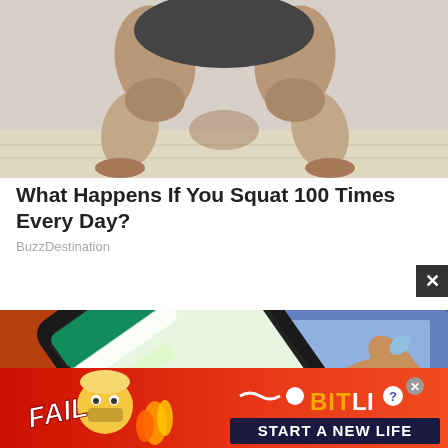[Figure (photo): Person squatting in athletic pose, cropped from waist down, on a light wooden floor with gray background]
What Happens If You Squat 100 Times Every Day?
BuzzDestination
[Figure (photo): Close-up of a woman with light blue nail polish typing on a smartphone showing WhatsApp, with a blurred blue screen in the background]
[Figure (screenshot): Advertisement banner: FAIL character with flames, BitLife logo, START A NEW LIFE text on red/orange background]